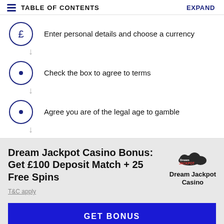TABLE OF CONTENTS   EXPAND
Enter personal details and choose a currency
Check the box to agree to terms
Agree you are of the legal age to gamble
Dream Jackpot Casino Bonus: Get £100 Deposit Match + 25 Free Spins
T&C apply
GET BONUS